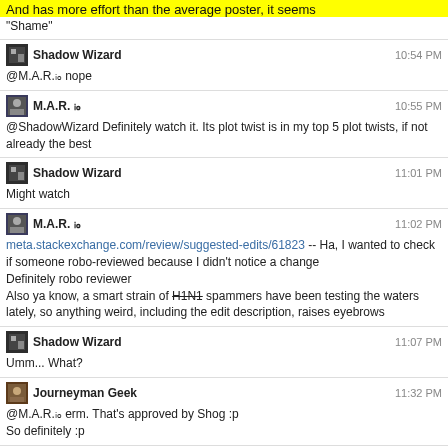And has more effort than the average poster, it seems
"Shame"
Shadow Wizard 10:54 PM @M.A.R.ᵢₒ nope
M.A.R. ᵢₒ 10:55 PM @ShadowWizard Definitely watch it. Its plot twist is in my top 5 plot twists, if not already the best
Shadow Wizard 11:01 PM Might watch
M.A.R. ᵢₒ 11:02 PM meta.stackexchange.com/review/suggested-edits/61823 -- Ha, I wanted to check if someone robo-reviewed because I didn't notice a change Definitely robo reviewer Also ya know, a smart strain of H1N1 spammers have been testing the waters lately, so anything weird, including the edit description, raises eyebrows
Shadow Wizard 11:07 PM Umm... What?
Journeyman Geek 11:32 PM @M.A.R.ᵢₒ erm. That's approved by Shog :p So definitely :p